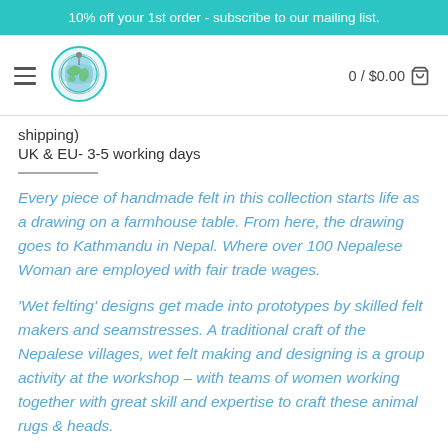10% off your 1st order - subscribe to our mailing list.
[Figure (logo): Globe/earth logo with green and blue colors in a circular badge]
shipping)
UK & EU- 3-5 working days
Every piece of handmade felt in this collection starts life as a drawing on a farmhouse table. From here, the drawing goes to Kathmandu in Nepal. Where over 100 Nepalese Woman are employed with fair trade wages.
‘Wet felting’ designs get made into prototypes by skilled felt makers and seamstresses. A traditional craft of the Nepalese villages, wet felt making and designing is a group activity at the workshop – with teams of women working together with great skill and expertise to craft these animal rugs & heads.